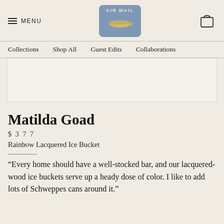MENU | AIR MAIL [logo] | bag icon
Collections  Shop All  Guest Edits  Collaborations
[Figure (screenshot): White/light banner area placeholder]
Matilda Goad
$ 3 7 7
Rainbow Lacquered Ice Bucket
“Every home should have a well-stocked bar, and our lacquered-wood ice buckets serve up a heady dose of color. I like to add lots of Schweppes cans around it.”